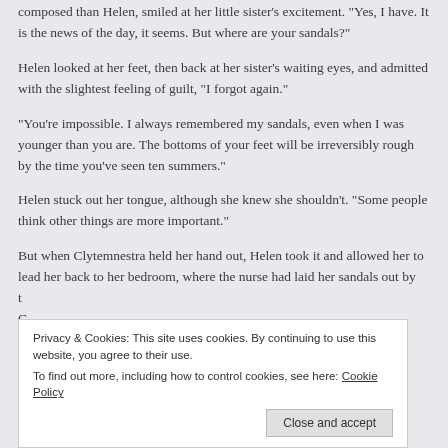composed than Helen, smiled at her little sister’s excitement. “Yes, I have. It is the news of the day, it seems. But where are your sandals?”
Helen looked at her feet, then back at her sister’s waiting eyes, and admitted with the slightest feeling of guilt, “I forgot again.”
“You’re impossible. I always remembered my sandals, even when I was younger than you are. The bottoms of your feet will be irreversibly rough by the time you’ve seen ten summers.”
Helen stuck out her tongue, although she knew she shouldn’t. “Some people think other things are more important.”
But when Clytemnestra held her hand out, Helen took it and allowed her to lead her back to her bedroom, where the nurse had laid her sandals out by t
Privacy & Cookies: This site uses cookies. By continuing to use this website, you agree to their use.
To find out more, including how to control cookies, see here: Cookie Policy
B
w